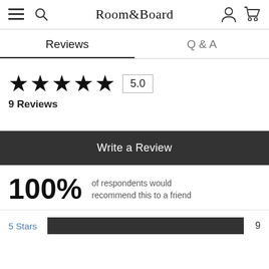Room&Board
Reviews | Q & A
★★★★★ 5.0
9 Reviews
Write a Review
100% of respondents would recommend this to a friend
5 Stars  9